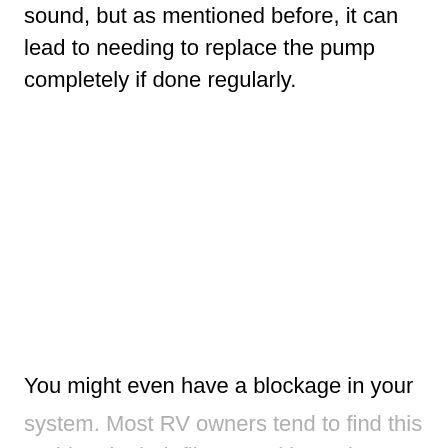sound, but as mentioned before, it can lead to needing to replace the pump completely if done regularly.
You might even have a blockage in your system. Most RV owners tend to find this problem in their filters, and it can be easily